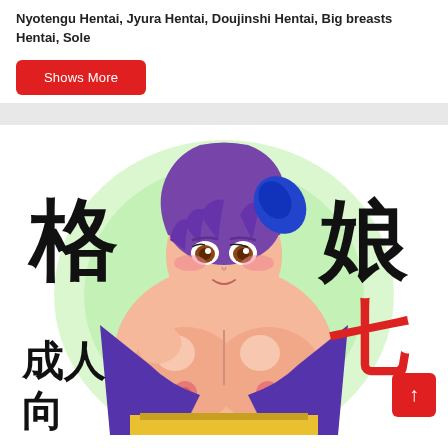Nyotengu Hentai, Jyura Hentai, Doujinshi Hentai, Big breasts Hentai, Sole
Shows More
[Figure (illustration): Manga/anime style illustration of a female character with purple hair and Japanese calligraphy characters around her, book cover style art]